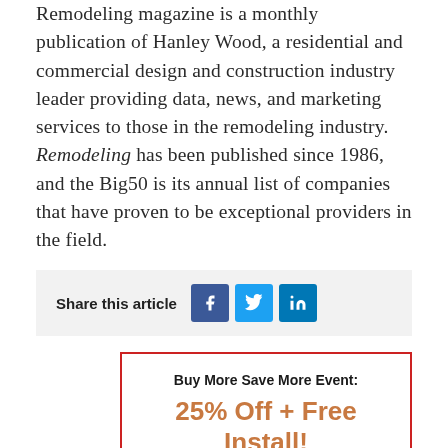Remodeling magazine is a monthly publication of Hanley Wood, a residential and commercial design and construction industry leader providing data, news, and marketing services to those in the remodeling industry. Remodeling has been published since 1986, and the Big50 is its annual list of companies that have proven to be exceptional providers in the field.
Share this article
Buy More Save More Event: 25% Off + Free Install!